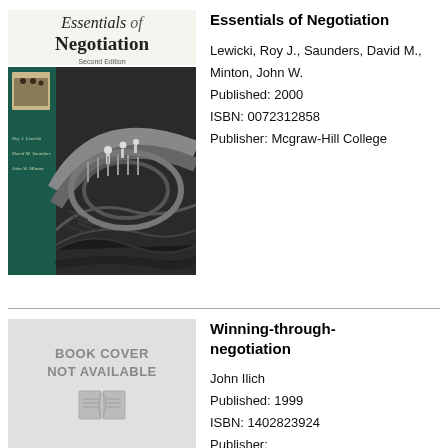[Figure (illustration): Book cover of Essentials of Negotiation, Second Edition by Roy J. Lewicki, David M. Saunders, John W. Minton. Shows a woodcut-style black and white image of people on a curved bridge with swirling landscape. Teal/dark green left panel with authors' names in italic.]
Essentials of Negotiation
Lewicki, Roy J., Saunders, David M., Minton, John W.
Published: 2000
ISBN: 0072312858
Publisher: Mcgraw-Hill College
[Figure (illustration): Book cover placeholder image: grey background with text BOOK COVER NOT AVAILABLE and a small open book icon below.]
Winning-through-negotiation
John Ilich
Published: 1999
ISBN: 1402823924
Publisher: